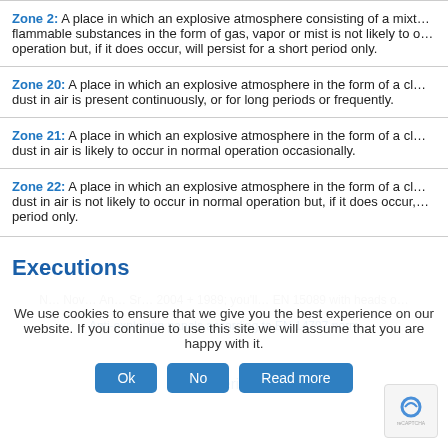Zone 2: A place in which an explosive atmosphere consisting of a mixture with air of flammable substances in the form of gas, vapor or mist is not likely to occur in normal operation but, if it does occur, will persist for a short period only.
Zone 20: A place in which an explosive atmosphere in the form of a cloud of flammable dust in air is present continuously, or for long periods or frequently.
Zone 21: A place in which an explosive atmosphere in the form of a cloud of flammable dust in air is likely to occur in normal operation occasionally.
Zone 22: A place in which an explosive atmosphere in the form of a cloud of flammable dust in air is not likely to occur in normal operation but, if it does occur, will persist for a short period only.
Executions
We use cookies to ensure that we give you the best experience on our website. If you continue to use this site we will assume that you are happy with it.